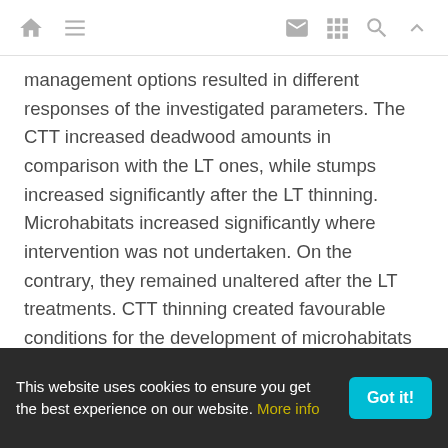[Navigation bar with home, menu, email, grid, search, up icons]
management options resulted in different responses of the investigated parameters. The CTT increased deadwood amounts in comparison with the LT ones, while stumps increased significantly after the LT thinning. Microhabitats increased significantly where intervention was not undertaken. On the contrary, they remained unaltered after the LT treatments. CTT thinning created favourable conditions for the development of microhabitats and their proliferation in the long term. Two years after the application of the CTT thinning treatment, all forest stands demonstrated a significant increase in their floristic richness and herb layer cover. Significant differences were also found in both the frequency and cover of life forms in relation to silvicultural
This website uses cookies to ensure you get the best experience on our website. More info  Got it!